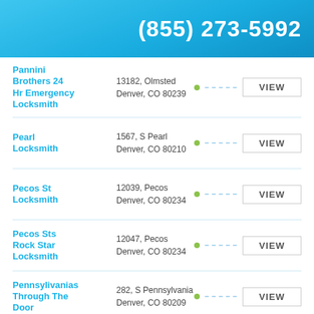(855) 273-5992
Pannini Brothers 24 Hr Emergency Locksmith | 13182, Olmsted | Denver, CO 80239
Pearl Locksmith | 1567, S Pearl | Denver, CO 80210
Pecos St Locksmith | 12039, Pecos | Denver, CO 80234
Pecos Sts Rock Star Locksmith | 12047, Pecos | Denver, CO 80234
Pennsylivanias Through The Door | 282, S Pennsylvania | Denver, CO 80209